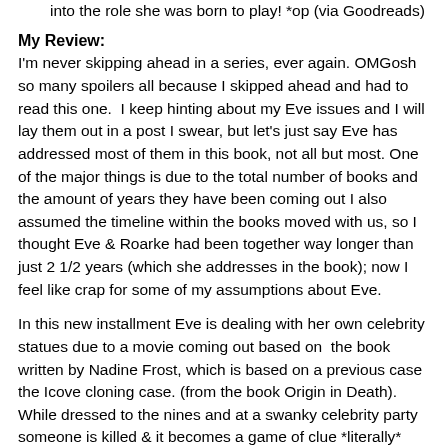into the role she was born to play! *op (via Goodreads)
My Review:
I'm never skipping ahead in a series, ever again. OMGosh so many spoilers all because I skipped ahead and had to read this one.  I keep hinting about my Eve issues and I will lay them out in a post I swear, but let's just say Eve has addressed most of them in this book, not all but most. One of the major things is due to the total number of books and the amount of years they have been coming out I also assumed the timeline within the books moved with us, so I thought Eve & Roarke had been together way longer than just 2 1/2 years (which she addresses in the book); now I feel like crap for some of my assumptions about Eve.
In this new installment Eve is dealing with her own celebrity statues due to a movie coming out based on  the book written by Nadine Frost, which is based on a previous case the Icove cloning case. (from the book Origin in Death).  While dressed to the nines and at a swanky celebrity party someone is killed & it becomes a game of clue *literally* with Eve and Peabody becoming primaries on the case, trying to